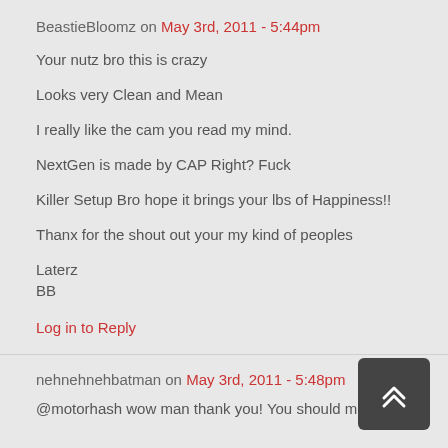BeastieBloomz on May 3rd, 2011 - 5:44pm
Your nutz bro this is crazy

Looks very Clean and Mean

I really like the cam you read my mind.

NextGen is made by CAP Right? Fuck

Killer Setup Bro hope it brings your lbs of Happiness!!

Thanx for the shout out your my kind of peoples

Laterz
BB
Log in to Reply
nehnehnehbatman on May 3rd, 2011 - 5:48pm
@motorhash wow man thank you! You should make